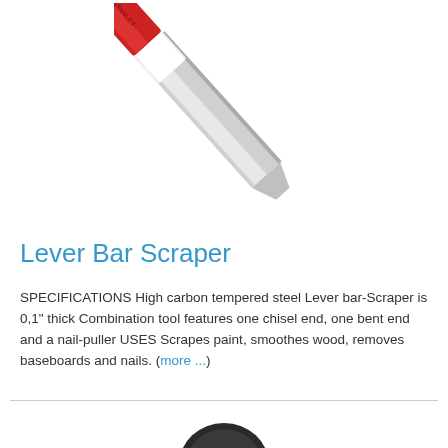[Figure (photo): A lever bar scraper tool — a flat metal bar with a red and white handle at the top, angled diagonally from upper-right to lower-left against a white background.]
Lever Bar Scraper
SPECIFICATIONS High carbon tempered steel Lever bar-Scraper is 0,1" thick Combination tool features one chisel end, one bent end and a nail-puller USES Scrapes paint, smoothes wood, removes baseboards and nails. (more ...)
[Figure (photo): Partially visible dark-colored circular tool at the bottom of the page, cut off by the page edge.]